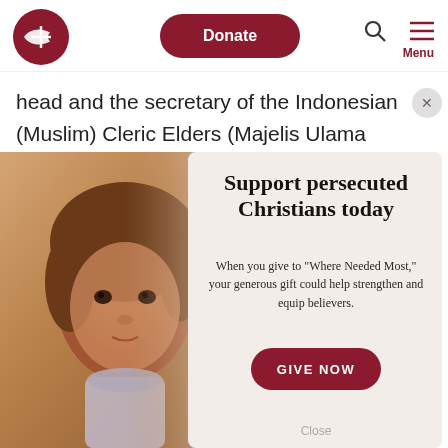[Figure (logo): Open Doors organization logo — red fish/cross icon]
Donate
Menu
head and the secretary of the Indonesian (Muslim) Cleric Elders (Majelis Ulama Indonesia Bogor), the West Bogor
[Figure (photo): Close-up portrait of a young girl with brown hair and eyes, wearing a light purple turtleneck, looking at camera with a serious expression]
Support persecuted Christians today
When you give to "Where Needed Most," your generous gift could help strengthen and equip believers.
GIVE NOW
Close